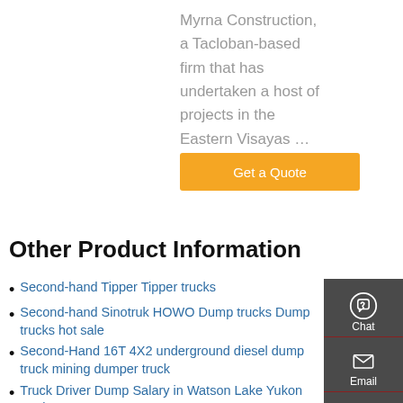Myrna Construction, a Tacloban-based firm that has undertaken a host of projects in the Eastern Visayas …
[Figure (other): Orange 'Get a Quote' button]
Other Product Information
Second-hand Tipper Tipper trucks
Second-hand Sinotruk HOWO Dump trucks Dump trucks hot sale
Second-Hand 16T 4X2 underground diesel dump truck mining dumper truck
Truck Driver Dump Salary in Watson Lake Yukon Territory
Used Boy killed after being hit by Tipper truck
2021 PETERBILT 348 Dump Truck